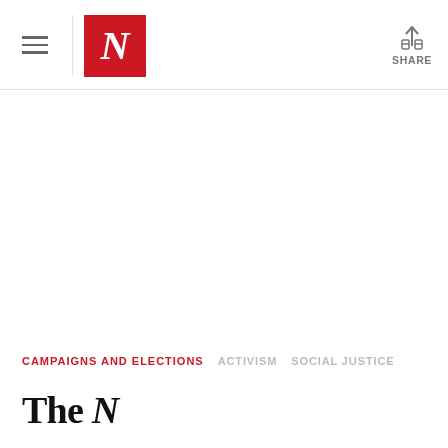The Nation — SHARE
CAMPAIGNS AND ELECTIONS   ACTIVISM   SOCIAL JUSTICE
The [partial title visible]